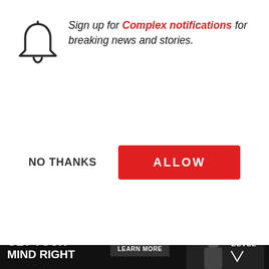[Figure (screenshot): Browser notification permission dialog with bell icon, 'Sign up for Complex notifications for breaking news and stories.' text, NO THANKS and ALLOW buttons]
Dion Wilson a.k.a. (Producer, featured friend)
Anthony Khan a.k. Never The Less (Pr Derek Dudley (Con friend)
Peter Kong (Executive producer & A&R for Relativity Reco
[Figure (screenshot): Complex Sneakers Podcast card with photo of three men at microphones, logo, and caption: The Best Back to School Sneakers, Then and Now | The Complex Sneakers Podcast]
[Figure (screenshot): Bottom advertisement bar with black background, text 'GET YOUR MIND RIGHT', LEARN MORE button, and Bevel brand logo with person photo]